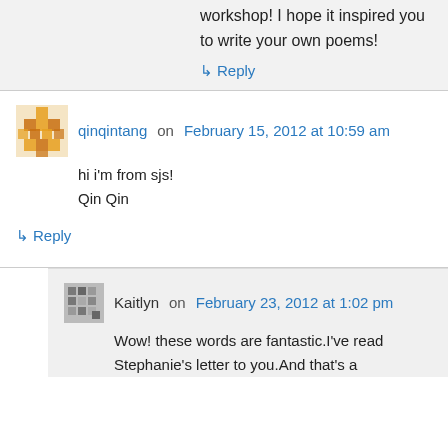workshop! I hope it inspired you to write your own poems!
↳ Reply
qinqintang on February 15, 2012 at 10:59 am
hi i'm from sjs!
Qin Qin
↳ Reply
Kaitlyn on February 23, 2012 at 1:02 pm
Wow! these words are fantastic.I've read Stephanie's letter to you.And that's a